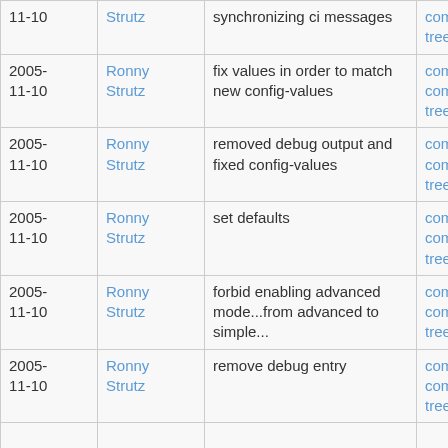| Date | Author | Message | Links |
| --- | --- | --- | --- |
| 11-10 | Strutz | synchronizing ci messages | commitdiff | tree |
| 2005-11-10 | Ronny Strutz | fix values in order to match new config-values | commit | commitdiff | tree |
| 2005-11-10 | Ronny Strutz | removed debug output and fixed config-values | commit | commitdiff | tree |
| 2005-11-10 | Ronny Strutz | set defaults | commit | commitdiff | tree |
| 2005-11-10 | Ronny Strutz | forbid enabling advanced mode...from advanced to simple... | commit | commitdiff | tree |
| 2005-11-10 | Ronny Strutz | remove debug entry | commit | commitdiff | tree |